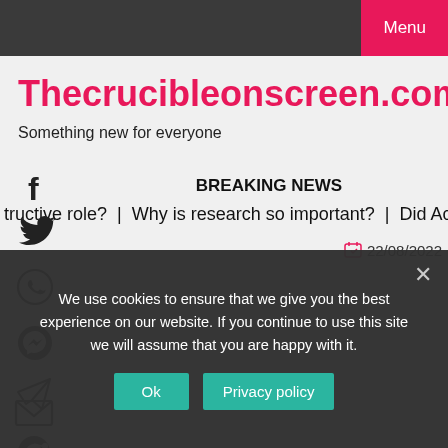Menu
Thecrucibleonscreen.com
Something new for everyone
BREAKING NEWS
tructive role?  |  Why is research so important?  |  Did Achille
22/08/2022
We use cookies to ensure that we give you the best experience on our website. If you continue to use this site we will assume that you are happy with it.
Ok   Privacy policy